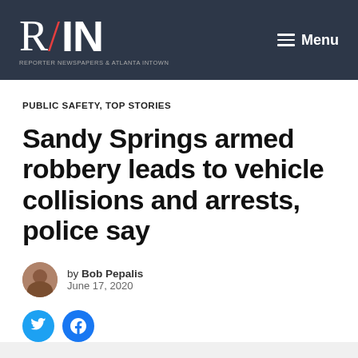R/IN — Reporter Newspapers & Atlanta Intown — Menu
PUBLIC SAFETY, TOP STORIES
Sandy Springs armed robbery leads to vehicle collisions and arrests, police say
by Bob Pepalis
June 17, 2020